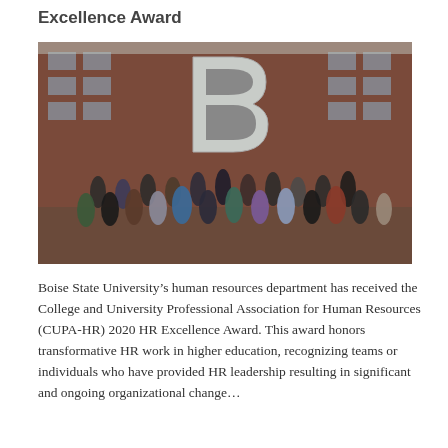Excellence Award
[Figure (photo): Group photo of Boise State University human resources department staff standing in front of a large metal 'B' sculpture outside a brick university building.]
Boise State University’s human resources department has received the College and University Professional Association for Human Resources (CUPA-HR) 2020 HR Excellence Award. This award honors transformative HR work in higher education, recognizing teams or individuals who have provided HR leadership resulting in significant and ongoing organizational change…